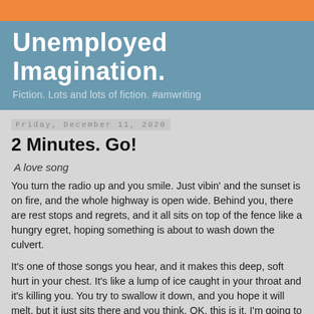Unemployed Imagination.
Fiction. Lots and lots of fiction. #amwriting
Friday, December 11, 2020
2 Minutes. Go!
A love song
You turn the radio up and you smile. Just vibin' and the sunset is on fire, and the whole highway is open wide. Behind you, there are rest stops and regrets, and it all sits on top of the fence like a hungry egret, hoping something is about to wash down the culvert.
It's one of those songs you hear, and it makes this deep, soft hurt in your chest. It's like a lump of ice caught in your throat and it's killing you. You try to swallow it down, and you hope it will melt, but it just sits there and you think, OK, this is it. I'm going to die on a highway, thinking this kid over. Now. But